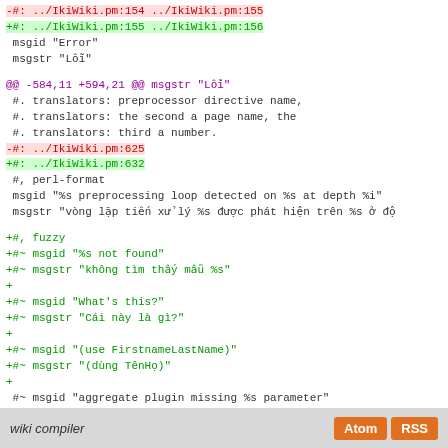-#: ../IkiWiki.pm:154 ../IkiWiki.pm:155
+#: ../IkiWiki.pm:155 ../IkiWiki.pm:156
 msgid "Error"
 msgstr "Lỗi"

@@ -584,11 +594,21 @@ msgstr "Lỗi"
 #. translators: preprocessor directive name,
 #. translators: the second a page name, the
 #. translators: third a number.
-#: ../IkiWiki.pm:625
+#: ../IkiWiki.pm:632
 #, perl-format
 msgid "%s preprocessing loop detected on %s at depth %i"
 msgstr "vòng lặp tiến xử lý %s được phát hiện trên %s ở độ"

+#, fuzzy
+#~ msgid "%s not found"
+#~ msgstr "không tìm thấy mẫu %s"
+
+#~ msgid "What's this?"
+#~ msgstr "Cái này là gì?"
+
+#~ msgid "(use FirstnameLastName)"
+#~ msgstr "(dùng TênHọ)"
+
 #~ msgid "aggregate plugin missing %s parameter"
 #~ msgstr "bổ sung tập hợp thiếu tham số %s"
wiki compiler   Atom RSS